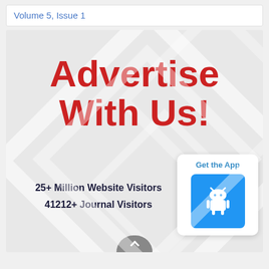Volume 5, Issue 1
[Figure (infographic): Advertisement banner with grey geometric diamond background pattern. Large red bold text reads 'Advertise With Us!' followed by stats: '25+ Million Website Visitors' and '41212+ Journal Visitors'. A 'Get the App' card with Android button is overlaid bottom-right. A grey scroll button is visible at bottom center.]